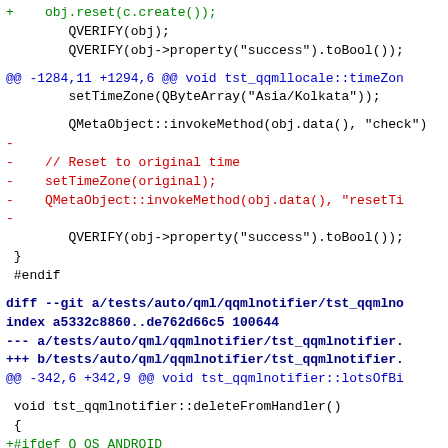Code diff showing changes to Qt QML locale and notifier test files
[Figure (screenshot): Source code diff output showing added and removed lines in C++ test files for Qt QML locale timezone and qqmlnotifier deleteFromHandler functionality]